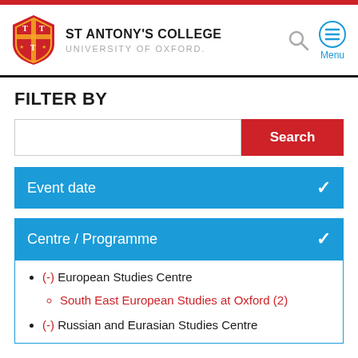ST ANTONY'S COLLEGE UNIVERSITY OF OXFORD
FILTER BY
Event date
Centre / Programme
(-) European Studies Centre
South East European Studies at Oxford (2)
(-) Russian and Eurasian Studies Centre